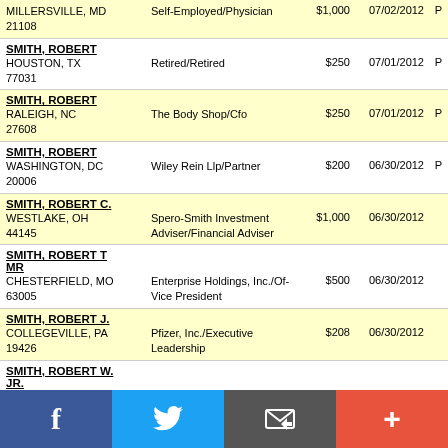MILLERSVILLE, MD 21108 | Self-Employed/Physician | $1,000 | 07/02/2012 | P
SMITH, ROBERT | HOUSTON, TX 77031 | Retired/Retired | $250 | 07/01/2012 | P
SMITH, ROBERT | RALEIGH, NC 27608 | The Body Shop/Cfo | $250 | 07/01/2012 | P
SMITH, ROBERT | WASHINGTON, DC 20006 | Wiley Rein Llp/Partner | $200 | 06/30/2012 | P
SMITH, ROBERT C. | WESTLAKE, OH 44145 | Spero-Smith Investment Adviser/Financial Adviser | $1,000 | 06/30/2012
SMITH, ROBERT T MR | CHESTERFIELD, MO 63005 | Enterprise Holdings, Inc./Of-Vice President | $500 | 06/30/2012
SMITH, ROBERT J. | COLLEGEVILLE, PA 19426 | Pfizer, Inc./Executive Leadership | $208 | 06/30/2012
SMITH, ROBERT W. JR. | BALTIMORE, MD 21209 | Dlp Piper Llp (Us)/Attorney | $200 | 06/30/2012